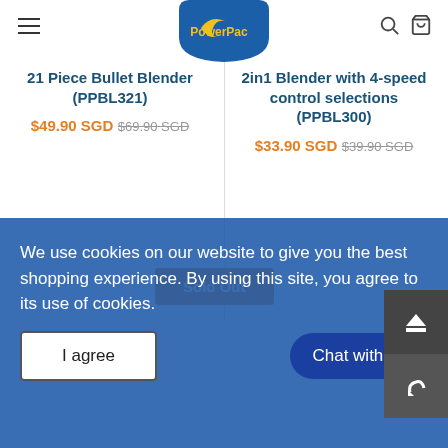[Figure (logo): PowerPac logo — blue shield shape with yellow crescent and yellow PowerPac text]
21 Piece Bullet Blender (PPBL321)
$49.90 SGD $69.90 SGD
2in1 Blender with 4-speed control selections (PPBL300)
$33.90 SGD $39.90 SGD
Sold Out
We use cookies on our website to give you the best shopping experience. By using this site, you agree to its use of cookies.
I agree
Chat with us